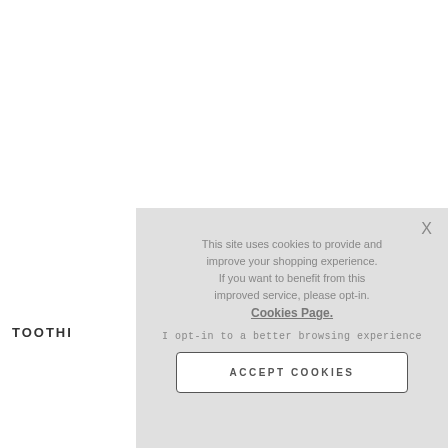TOOTHI
This site uses cookies to provide and improve your shopping experience. If you want to benefit from this improved service, please opt-in. Cookies Page.
I opt-in to a better browsing experience
ACCEPT COOKIES